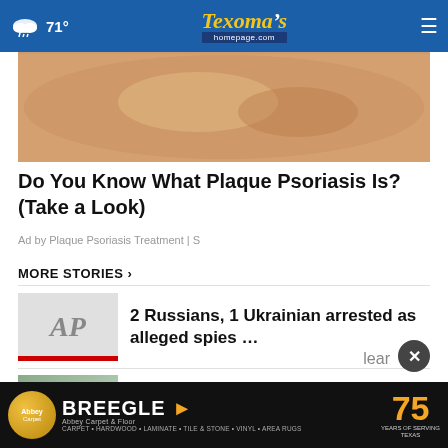71° Texoma's homepage.com
[Figure (photo): Close-up skin image related to Plaque Psoriasis advertisement]
Do You Know What Plaque Psoriasis Is? (Take a Look)
Ad by Plaque Psoriasis Treatment | S
MORE STORIES ›
[Figure (logo): Associated Press (AP) logo thumbnail]
2 Russians, 1 Ukrainian arrested as alleged spies …
[Figure (photo): Video thumbnail for Rescue Me fundraiser story]
Rescue Me fundraiser raises money for Humane Society …
[Figure (photo): Video thumbnail for third story]
[Figure (infographic): Breegle Abbey Carpet & Floor 75 Years of Serving Texas advertisement banner]